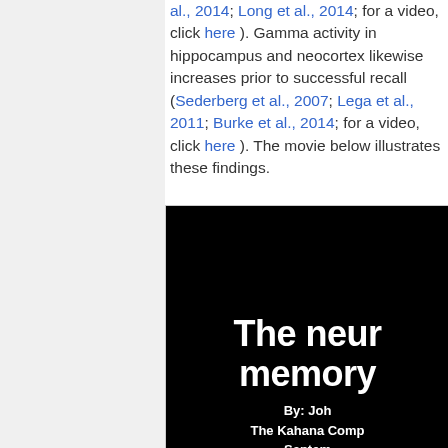al., 2014; Long et al., 2014; for a video, click here ). Gamma activity in hippocampus and neocortex likewise increases prior to successful recall (Sederberg et al., 2007; Lega et al., 2011; Burke et al., 2014; for a video, click here ). The movie below illustrates these findings.
[Figure (screenshot): Video thumbnail with black background showing partial text: 'The neur... memory...' By: Joh... The Kahana Comp... Septem...]